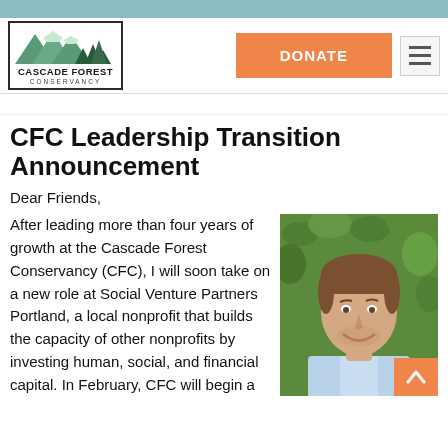[Figure (logo): Cascade Forest Conservancy logo with mountain and tree illustration inside a bordered box]
CFC Leadership Transition Announcement
Dear Friends,
After leading more than four years of growth at the Cascade Forest Conservancy (CFC), I will soon take on a new role at Social Venture Partners Portland, a local nonprofit that builds the capacity of other nonprofits by investing human, social, and financial capital. In February, CFC will begin a
[Figure (photo): Portrait photo of a smiling man with short brown hair wearing a light blue shirt, with green leafy background]